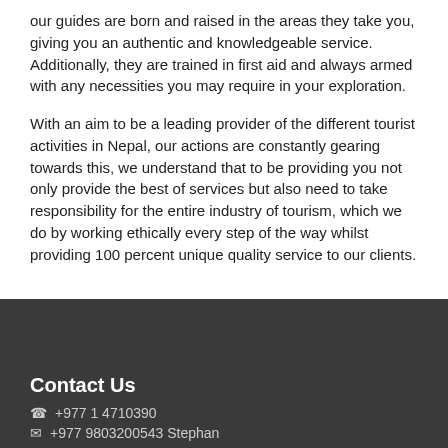our guides are born and raised in the areas they take you, giving you an authentic and knowledgeable service. Additionally, they are trained in first aid and always armed with any necessities you may require in your exploration.
With an aim to be a leading provider of the different tourist activities in Nepal, our actions are constantly gearing towards this, we understand that to be providing you not only provide the best of services but also need to take responsibility for the entire industry of tourism, which we do by working ethically every step of the way whilst providing 100 percent unique quality service to our clients.
Contact Us
☎ +977 1 4710390
✉ +977 9803200543 Stephan